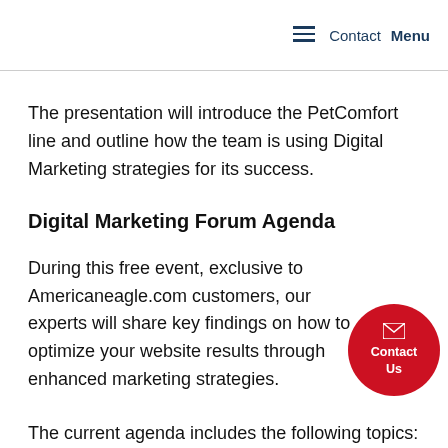Contact  Menu
The presentation will introduce the PetComfort line and outline how the team is using Digital Marketing strategies for its success.
Digital Marketing Forum Agenda
During this free event, exclusive to Americaneagle.com customers, our experts will share key findings on how to optimize your website results through enhanced marketing strategies.
The current agenda includes the following topics: